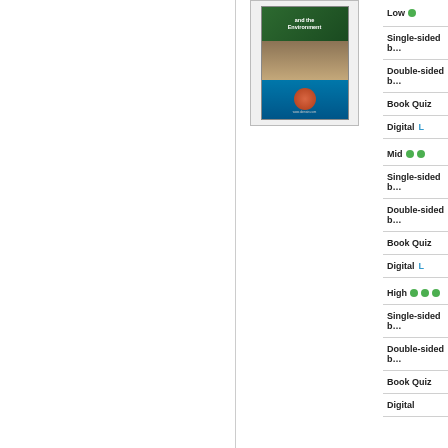[Figure (illustration): Book cover for 'and the Environment' showing nature and underwater scenes]
Low ● (one green dot)
Single-sided b…
Double-sided b…
Book Quiz
Digital  L…
Mid ●● (two green dots)
Single-sided b…
Double-sided b…
Book Quiz
Digital  L…
High ●●● (three green dots)
Single-sided b…
Double-sided b…
Book Quiz
Digital